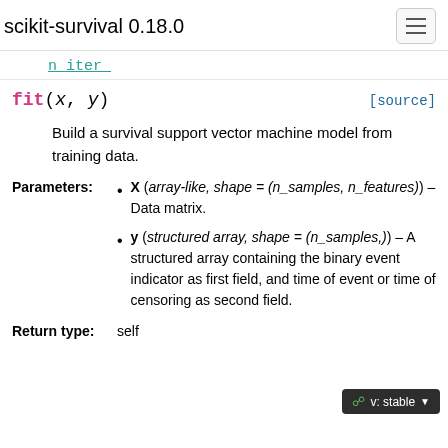scikit-survival 0.18.0
n_iter_
fit(x, y)  [source]
Build a survival support vector machine model from training data.
X (array-like, shape = (n_samples, n_features)) – Data matrix.
y (structured array, shape = (n_samples,)) – A structured array containing the binary event indicator as first field, and time of event or time of censoring as second field.
Return type: self